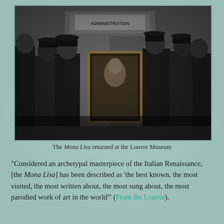[Figure (photo): Black and white historical photograph showing a group of men in early 20th century formal attire (dark coats, bowler hats) gathered around a framed painting — the Mona Lisa — in front of a door marked 'ADMINISTRATION', depicting the return of the Mona Lisa to the Louvre Museum.]
The Mona Lisa returned at the Louvre Museum
"Considered an archetypal masterpiece of the Italian Renaissance, [the Mona Lisa] has been described as 'the best known, the most visited, the most written about, the most sung about, the most parodied work of art in the world'" (From the Louvre).